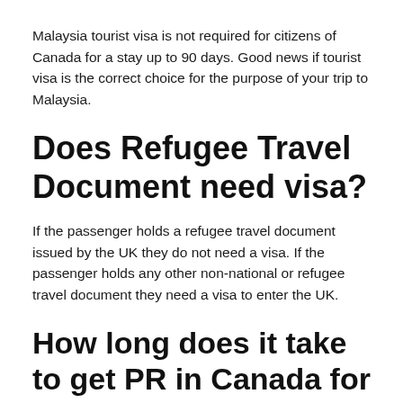Malaysia tourist visa is not required for citizens of Canada for a stay up to 90 days. Good news if tourist visa is the correct choice for the purpose of your trip to Malaysia.
Does Refugee Travel Document need visa?
If the passenger holds a refugee travel document issued by the UK they do not need a visa. If the passenger holds any other non-national or refugee travel document they need a visa to enter the UK.
How long does it take to get PR in Canada for refugees?